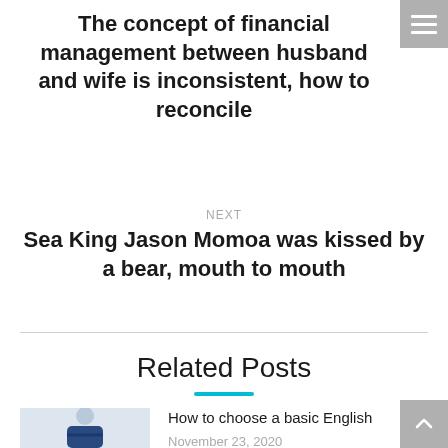The concept of financial management between husband and wife is inconsistent, how to reconcile
NEXT
Sea King Jason Momoa was kissed by a bear, mouth to mouth
Related Posts
[Figure (photo): Photo of a woman in a dark blazer with arms crossed, smiling, against a white background]
How to choose a basic English
November 23, 2020